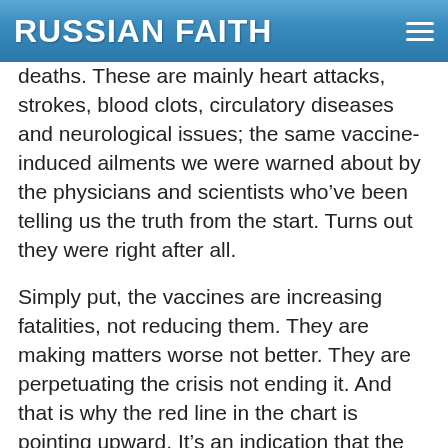RUSSIAN FAITH
deaths. These are mainly heart attacks, strokes, blood clots, circulatory diseases and neurological issues; the same vaccine-induced ailments we were warned about by the physicians and scientists who've been telling us the truth from the start. Turns out they were right after all.
Simply put, the vaccines are increasing fatalities, not reducing them. They are making matters worse not better. They are perpetuating the crisis not ending it. And that is why the red line in the chart is pointing upward. It's an indication that the death toll will continue to rise as long as we continue to do what we are doing now, inoculating millions of people with a cytotoxic